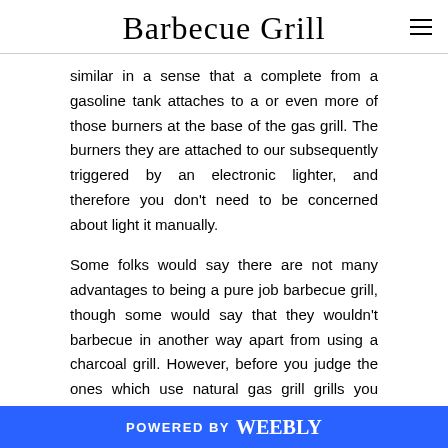Barbecue Grill
similar in a sense that a complete from a gasoline tank attaches to a or even more of those burners at the base of the gas grill. The burners they are attached to our subsequently triggered by an electronic lighter, and therefore you don't need to be concerned about light it manually.
Some folks would say there are not many advantages to being a pure job barbecue grill, though some would say that they wouldn't barbecue in another way apart from using a charcoal grill. However, before you judge the ones which use natural gas grill grills you might choose to learn of a few of the advantages these grills can provide. In this column I will inform you about a few of the benefits
POWERED BY weebly